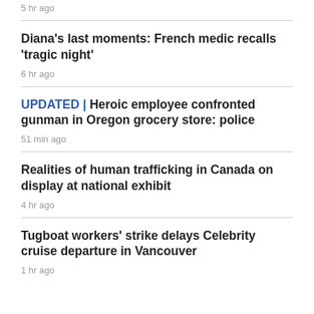5 hr ago
Diana's last moments: French medic recalls 'tragic night'
6 hr ago
UPDATED | Heroic employee confronted gunman in Oregon grocery store: police
51 min ago
Realities of human trafficking in Canada on display at national exhibit
4 hr ago
Tugboat workers' strike delays Celebrity cruise departure in Vancouver
1 hr ago